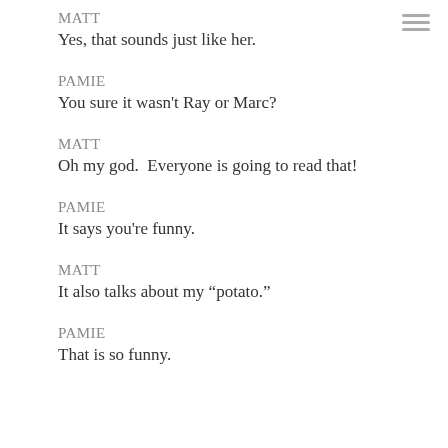MATT
Yes, that sounds just like her.
PAMIE
You sure it wasn't Ray or Marc?
MATT
Oh my god.  Everyone is going to read that!
PAMIE
It says you're funny.
MATT
It also talks about my “potato.”
PAMIE
That is so funny.